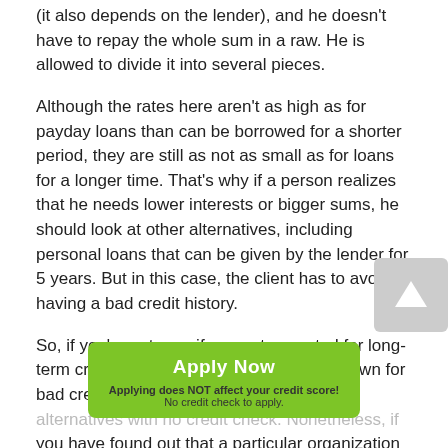(it also depends on the lender), and he doesn't have to repay the whole sum in a raw. He is allowed to divide it into several pieces.
Although the rates here aren't as high as for payday loans than can be borrowed for a shorter period, they are still as not as small as for loans for a longer time. That's why if a person realizes that he needs lower interests or bigger sums, he should look at other alternatives, including personal loans that can be given by the lender for 5 years. But in this case, the client has to avoid having a bad credit history.
So, if you're not sure if you get accepted for long-term credits, installment loans in Germantown for bad credit will be the best option among alternatives with no credit check. Nonetheless, if you have found out that a particular organization guarantees that it won't check this information and it doesn't cooperate rating with this lender. It's under the law to give these permissions to
[Figure (other): Scroll-to-top button with upward arrow icon, gray background, positioned at top-right]
[Figure (other): Green 'Apply Now' button/banner with text 'Applying does NOT affect your credit score!' and 'No credit check to apply.']